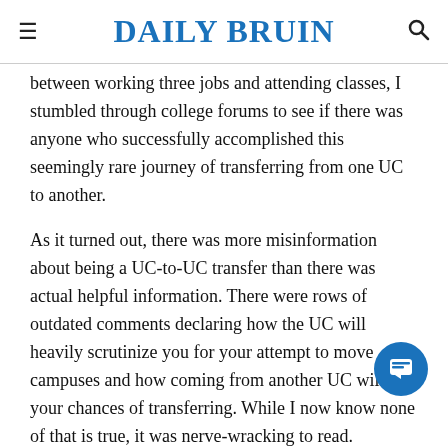DAILY BRUIN
between working three jobs and attending classes, I stumbled through college forums to see if there was anyone who successfully accomplished this seemingly rare journey of transferring from one UC to another.
As it turned out, there was more misinformation about being a UC-to-UC transfer than there was actual helpful information. There were rows of outdated comments declaring how the UC will heavily scrutinize you for your attempt to move campuses and how coming from another UC will hurt your chances of transferring. While I now know none of that is true, it was nerve-wracking to read.
Outside of the actual application, I didn't know how to